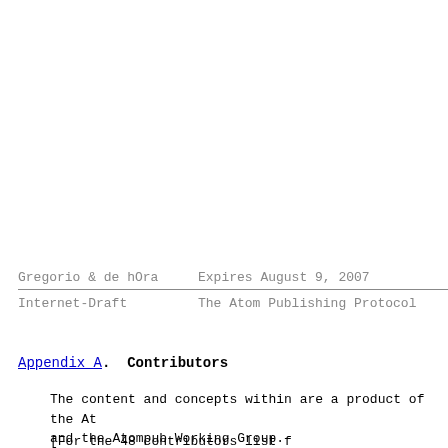Gregorio & de hOra    Expires August 9, 2007
Internet-Draft        The Atom Publishing Protocol
Appendix A.  Contributors
The content and concepts within are a product of the At and the Atompub Working Group.
[For the 48 contributors list...]